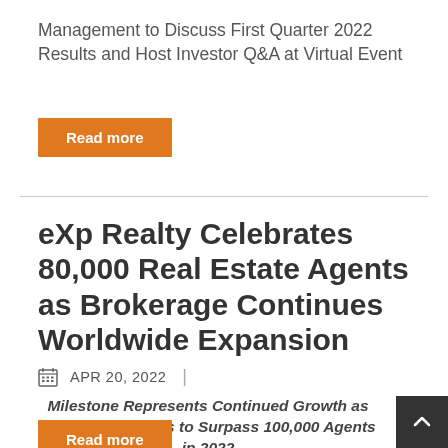Management to Discuss First Quarter 2022 Results and Host Investor Q&A at Virtual Event
Read more
eXp Realty Celebrates 80,000 Real Estate Agents as Brokerage Continues Worldwide Expansion
APR 20, 2022
Milestone Represents Continued Growth as Company Expects to Surpass 100,000 Agents in 2022
Read more